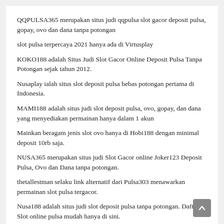QQPULSA365 merupakan situs judi qqpulsa slot gacor deposit pulsa, gopay, ovo dan dana tanpa potongan
slot pulsa terpercaya 2021 hanya ada di Virtusplay
KOKO188 adalah Situs Judi Slot Gacor Online Deposit Pulsa Tanpa Potongan sejak tahun 2012.
Nusaplay ialah situs slot deposit pulsa bebas potongan pertama di Indonesia.
MAMI188 adalah situs judi slot deposit pulsa, ovo, gopay, dan dana yang menyediakan permainan hanya dalam 1 akun
Mainkan beragam jenis slot ovo hanya di Hobi188 dengan minimal deposit 10rb saja.
NUSA365 merupakan situs judi Slot Gacor online Joker123 Deposit Pulsa, Ovo dan Dana tanpa potongan.
thetallestman selaku link alternatif dari Pulsa303 menawarkan permainan slot pulsa tergacor.
Nusa188 adalah situs judi slot deposit pulsa tanpa potongan. Daftar Slot online pulsa mudah hanya di sini.